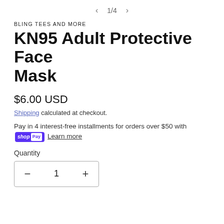< 1/4 >
BLING TEES AND MORE
KN95 Adult Protective Face Mask
$6.00 USD
Shipping calculated at checkout.
Pay in 4 interest-free installments for orders over $50 with Shop Pay Learn more
Quantity
— 1 +